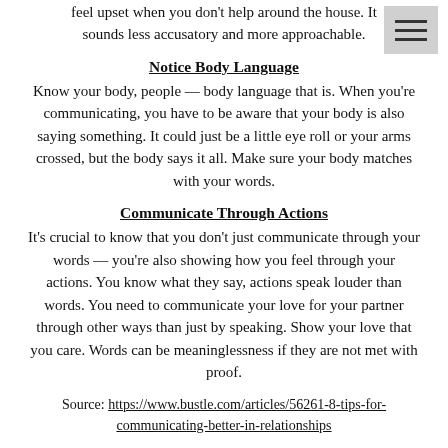feel upset when you don't help around the house. It sounds less accusatory and more approachable.
Notice Body Language
Know your body, people — body language that is. When you're communicating, you have to be aware that your body is also saying something. It could just be a little eye roll or your arms crossed, but the body says it all. Make sure your body matches with your words.
Communicate Through Actions
It's crucial to know that you don't just communicate through your words — you're also showing how you feel through your actions. You know what they say, actions speak louder than words. You need to communicate your love for your partner through other ways than just by speaking. Show your love that you care. Words can be meaninglessness if they are not met with proof.
Source: https://www.bustle.com/articles/56261-8-tips-for-communicating-better-in-relationships